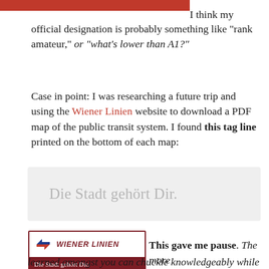[Figure (other): Red horizontal bar at the top of the page, partial image cropped]
I think my official designation is probably something like "rank amateur," or "what's lower than A1?"
Case in point: I was researching a future trip and using the Wiener Linien website to download a PDF map of the public transit system. I found this tag line printed on the bottom of each map:
[Figure (other): Gray box containing the text 'Die Stadt gehört Dir.' in large light gray serif font]
[Figure (logo): Wiener Linien logo: white background with red/blue arrow icon and WIENER LINIEN text, with tagline 'Die Stadt gehört Dir.' on dark red background below]
This gave me pause. The more learned amongst you can chuckle knowledgeably while